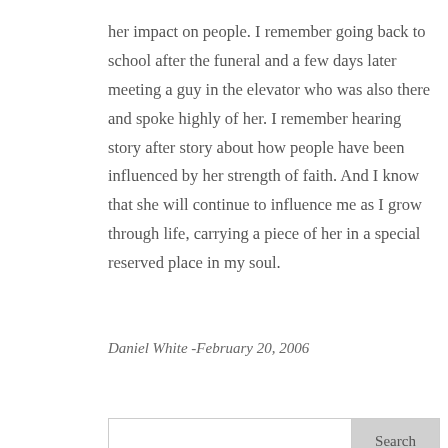her impact on people. I remember going back to school after the funeral and a few days later meeting a guy in the elevator who was also there and spoke highly of her. I remember hearing story after story about how people have been influenced by her strength of faith. And I know that she will continue to influence me as I grow through life, carrying a piece of her in a special reserved place in my soul.
Daniel White -February 20, 2006
Recent Posts
Missionary in Birkenstocks